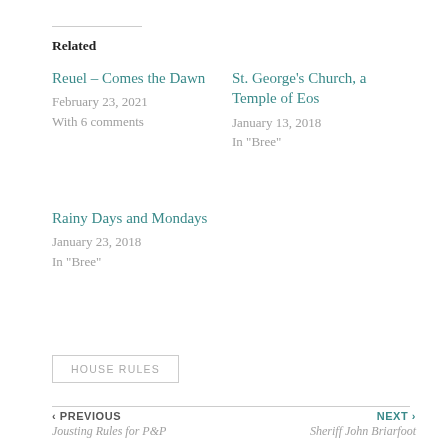Related
Reuel – Comes the Dawn
February 23, 2021
With 6 comments
St. George's Church, a Temple of Eos
January 13, 2018
In "Bree"
Rainy Days and Mondays
January 23, 2018
In "Bree"
HOUSE RULES
‹ PREVIOUS
Jousting Rules for P&P
NEXT ›
Sheriff John Briarfoot